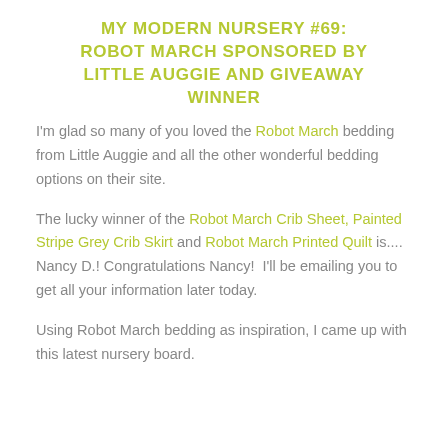MY MODERN NURSERY #69: ROBOT MARCH SPONSORED BY LITTLE AUGGIE AND GIVEAWAY WINNER
I'm glad so many of you loved the Robot March bedding from Little Auggie and all the other wonderful bedding options on their site.
The lucky winner of the Robot March Crib Sheet, Painted Stripe Grey Crib Skirt and Robot March Printed Quilt is.... Nancy D.! Congratulations Nancy!  I'll be emailing you to get all your information later today.
Using Robot March bedding as inspiration, I came up with this latest nursery board.